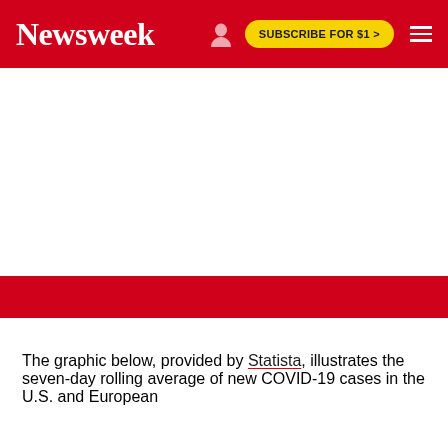Newsweek | SUBSCRIBE FOR $1 >
[Figure (other): White advertisement/blank space area below the Newsweek navigation bar, followed by a red strip]
The graphic below, provided by Statista, illustrates the seven-day rolling average of new COVID-19 cases in the U.S. and European